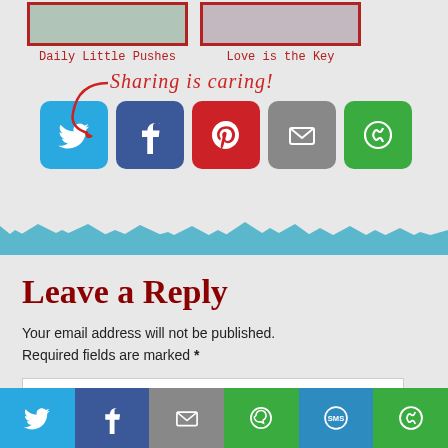Daily Little Pushes
Love is the Key
Sharing is caring!
[Figure (infographic): Social share buttons: Twitter (blue), Facebook (dark blue), Pinterest (red), Email (gray), More (green)]
Leave a Reply
Your email address will not be published. Required fields are marked *
[Figure (infographic): Bottom sharing bar with Twitter, Facebook, Email, WhatsApp, SMS, and More buttons]